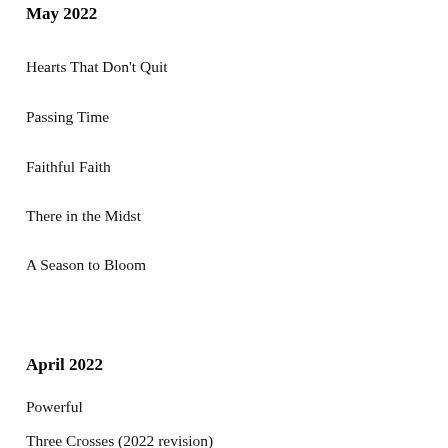May 2022
Hearts That Don't Quit
Passing Time
Faithful Faith
There in the Midst
A Season to Bloom
April 2022
Powerful
Three Crosses (2022 revision)